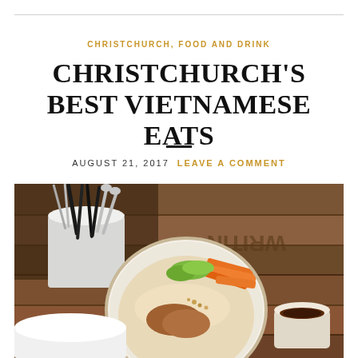CHRISTCHURCH, FOOD AND DRINK
CHRISTCHURCH'S BEST VIETNAMESE EATS
AUGUST 21, 2017   LEAVE A COMMENT
[Figure (photo): Overhead photo of a Vietnamese food bowl with shredded carrots, cucumber, herbs, bean sprouts, meat and crushed peanuts on a wooden table, alongside a cup of dipping sauce and a holder with black and silver cutlery. A wooden crate with stenciled text is visible in the background.]